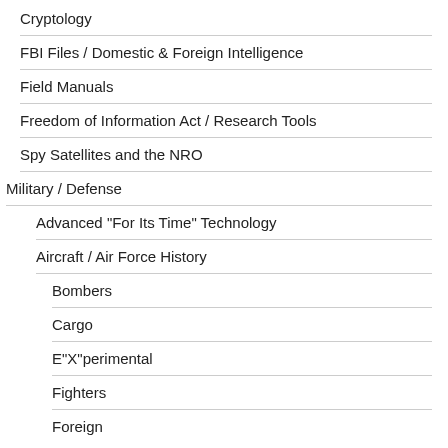Cryptology
FBI Files / Domestic & Foreign Intelligence
Field Manuals
Freedom of Information Act / Research Tools
Spy Satellites and the NRO
Military / Defense
Advanced "For Its Time" Technology
Aircraft / Air Force History
Bombers
Cargo
E"X"perimental
Fighters
Foreign